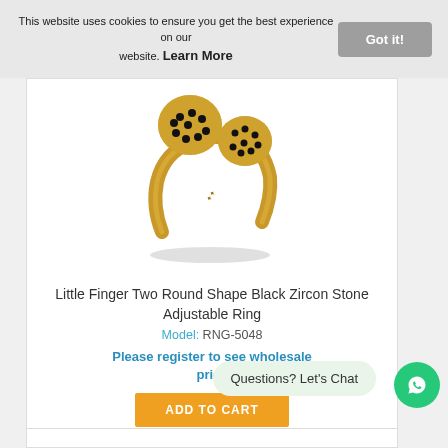This website uses cookies to ensure you get the best experience on our website. Learn More
[Figure (photo): Gold open-band ring with two round disc tops each set with black zircon stones in pavé style]
Little Finger Two Round Shape Black Zircon Stone Adjustable Ring
Model: RNG-5048
Please register to see wholesale price
ADD TO CART
Questions? Let's Chat